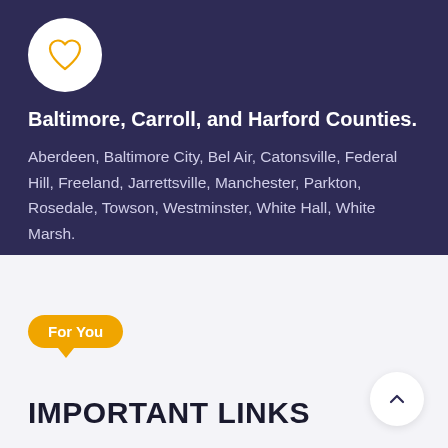[Figure (illustration): White circle with an orange outlined heart icon]
Baltimore, Carroll, and Harford Counties.
Aberdeen, Baltimore City, Bel Air, Catonsville, Federal Hill, Freeland, Jarrettsville, Manchester, Parkton, Rosedale, Towson, Westminster, White Hall, White Marsh.
For You
IMPORTANT LINKS